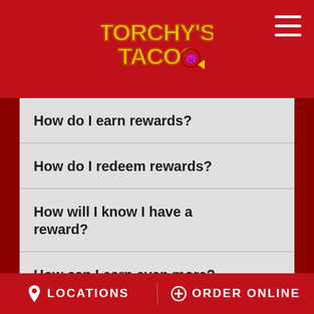[Figure (logo): Torchy's Tacos logo with stylized text and devil mascot]
How do I earn rewards?
How do I redeem rewards?
How will I know I have a reward?
How can I earn even more?
Why haven't I earned any rewards?
Do rewards expire?
LOCATIONS   ORDER ONLINE